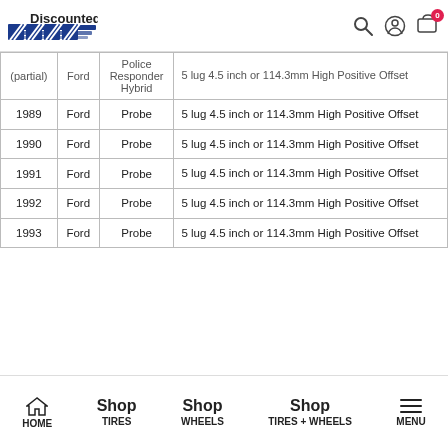Discounted Wheel Warehouse — navigation header with search, account, and cart icons
| Year | Make | Model | Bolt Pattern / Offset |
| --- | --- | --- | --- |
| (partial) | Ford | Police Responder Hybrid | 5 lug 4.5 inch or 114.3mm High Positive Offset |
| 1989 | Ford | Probe | 5 lug 4.5 inch or 114.3mm High Positive Offset |
| 1990 | Ford | Probe | 5 lug 4.5 inch or 114.3mm High Positive Offset |
| 1991 | Ford | Probe | 5 lug 4.5 inch or 114.3mm High Positive Offset |
| 1992 | Ford | Probe | 5 lug 4.5 inch or 114.3mm High Positive Offset |
| 1993 | Ford | Probe | 5 lug 4.5 inch or 114.3mm High Positive Offset |
HOME | Shop TIRES | Shop WHEELS | Shop TIRES + WHEELS | MENU